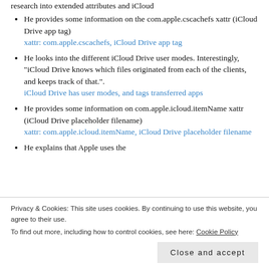research into extended attributes and iCloud
He provides some information on the com.apple.cscachefs xattr (iCloud Drive app tag) xattr: com.apple.cscachefs, iCloud Drive app tag
He looks into the different iCloud Drive user modes. Interestingly, "iCloud Drive knows which files originated from each of the clients, and keeps track of that.". iCloud Drive has user modes, and tags transferred apps
He provides some information on com.apple.icloud.itemName xattr (iCloud Drive placeholder filename) xattr: com.apple.icloud.itemName, iCloud Drive placeholder filename
He explains that Apple uses the
Privacy & Cookies: This site uses cookies. By continuing to use this website, you agree to their use.
To find out more, including how to control cookies, see here: Cookie Policy
Close and accept